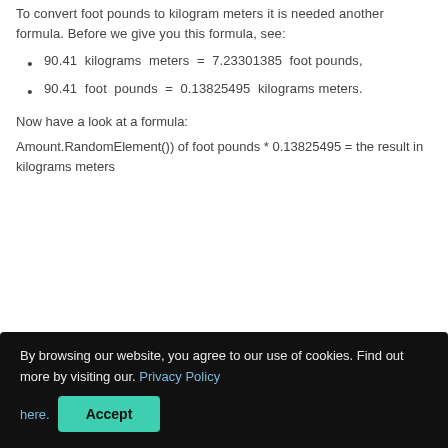To convert foot pounds to kilogram meters it is needed another formula. Before we give you this formula, see:
90.41 kilograms meters = 7.23301385 foot pounds,
90.41 foot pounds = 0.13825495 kilograms meters.
Now have a look at a formula:
By browsing our website, you agree to our use of cookies. Find out more by visiting our. Privacy Policy here. Accept